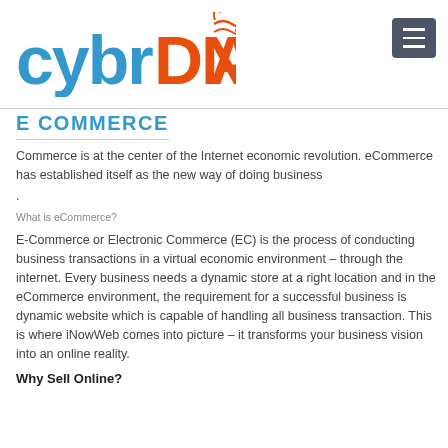[Figure (logo): cybrDNA logo with blue 'cybr' text and orange 'DNA' text with a stylized DNA helix graphic]
[Figure (other): Hamburger menu button (three horizontal lines) on dark gray/slate background, top right corner]
E COMMERCE
Commerce is at the center of the Internet economic revolution. eCommerce has established itself as the new way of doing business .
What is eCommerce?
E-Commerce or Electronic Commerce (EC) is the process of conducting business transactions in a virtual economic environment – through the internet. Every business needs a dynamic store at a right location and in the eCommerce environment, the requirement for a successful business is dynamic website which is capable of handling all business transaction. This is where iNowWeb comes into picture – it transforms your business vision into an online reality.
Why Sell Online?